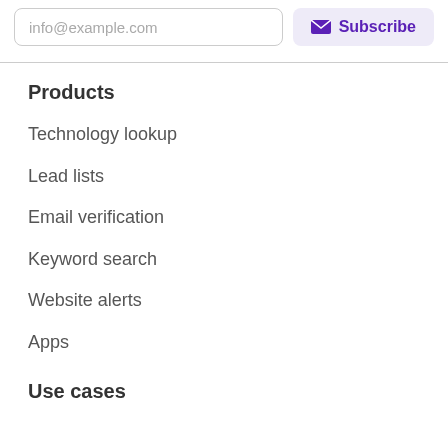info@example.com
Subscribe
Products
Technology lookup
Lead lists
Email verification
Keyword search
Website alerts
Apps
Use cases